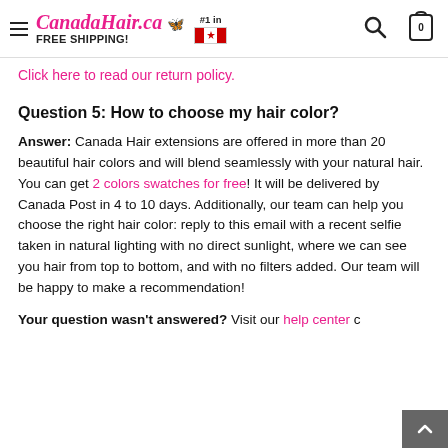CanadaHair.ca #1 in FREE SHIPPING!
Click here to read our return policy.
Question 5: How to choose my hair color?
Answer: Canada Hair extensions are offered in more than 20 beautiful hair colors and will blend seamlessly with your natural hair. You can get 2 colors swatches for free! It will be delivered by Canada Post in 4 to 10 days. Additionally, our team can help you choose the right hair color: reply to this email with a recent selfie taken in natural lighting with no direct sunlight, where we can see you hair from top to bottom, and with no filters added. Our team will be happy to make a recommendation!
Your question wasn't answered? Visit our help center